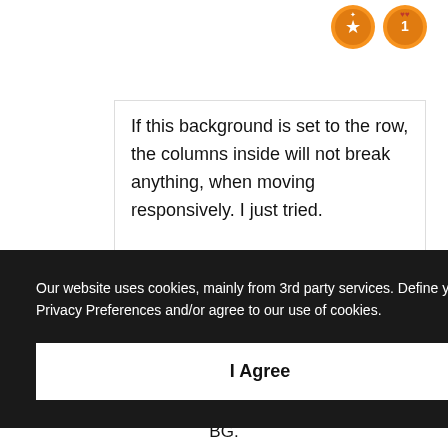[Figure (illustration): Two orange badge/award icons in top right corner]
If this background is set to the row, the columns inside will not break anything, when moving responsively. I just tried.

Ah, your example has column backgrounds. I do not use column
Our website uses cookies, mainly from 3rd party services. Define your Privacy Preferences and/or agree to our use of cookies.
I Agree
BG.